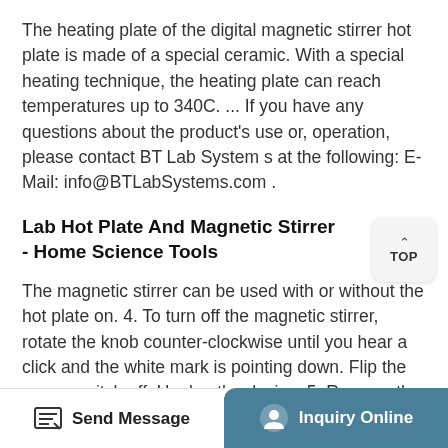The heating plate of the digital magnetic stirrer hot plate is made of a special ceramic. With a special heating technique, the heating plate can reach temperatures up to 340C. ... If you have any questions about the product's use or, operation, please contact BT Lab System s at the following: E-Mail: info@BTLabSystems.com .
Lab Hot Plate And Magnetic Stirrer - Home Science Tools
The magnetic stirrer can be used with or without the hot plate on. 4. To turn off the magnetic stirrer, rotate the knob counter-clockwise until you hear a click and the white mark is pointing down. Flip the power switch off. Unplug the device. 5. Remove the stir bar with a metal utensil. The stir bar will
Send Message   Inquiry Online